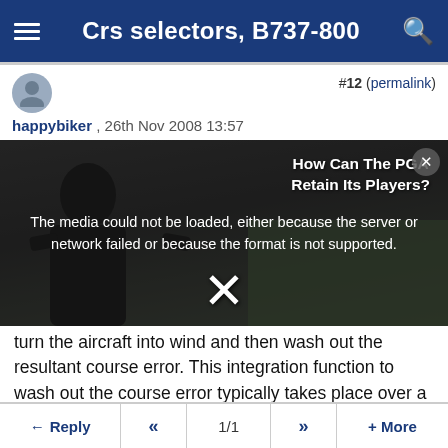Crs selectors, B737-800
#12 (permalink)
happybiker , 26th Nov 2008 13:57
[Figure (screenshot): Video player showing a media error overlay: 'The media could not be loaded, either because the server or network failed or because the format is not supported.' with a partially visible silhouette figure and text 'How Can The PGA Retain Its Players?' in background. A large X close button is visible.]
turn the aircraft into wind and then wash out the resultant course error. This integration function to wash out the course error typically takes place over a period of time which was around 100 seconds in the autoflight systems on the 737-300 and 747-200.
Once captured and on the beam centre if you change the selected course the resultant CRS error signal will predominate and the aircraft turn towards the selected
Reply  «  1/1  »  + More